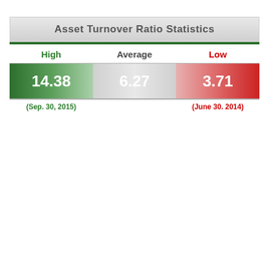Asset Turnover Ratio Statistics
| High | Average | Low |
| --- | --- | --- |
| 14.38 | 6.27 | 3.71 |
| (Sep. 30, 2015) |  | (June 30. 2014) |